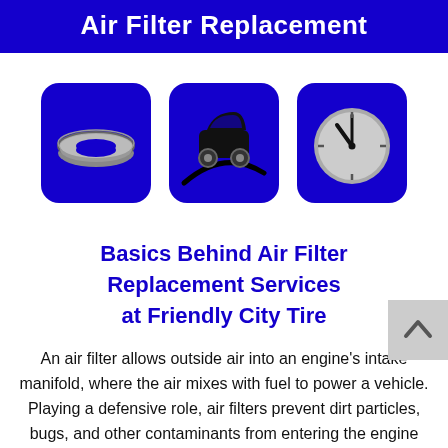Air Filter Replacement
[Figure (illustration): Three blue rounded-square icons in a row: (1) an air filter ring (grey torus), (2) a black car silhouette with a curved road, (3) a grey clock face]
Basics Behind Air Filter Replacement Services at Friendly City Tire
An air filter allows outside air into an engine's intake manifold, where the air mixes with fuel to power a vehicle. Playing a defensive role, air filters prevent dirt particles, bugs, and other contaminants from entering the engine and causing destruction.